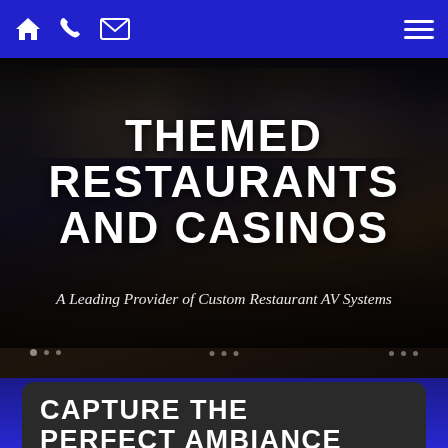Navigation bar with home, phone, email icons and hamburger menu
THEMED RESTAURANTS AND CASINOS
A Leading Provider of Custom Restaurant AV Systems
[Figure (photo): Dark restaurant/casino interior background with crowd of people and screens, overlaid with large text]
CAPTURE THE PERFECT AMBIANCE